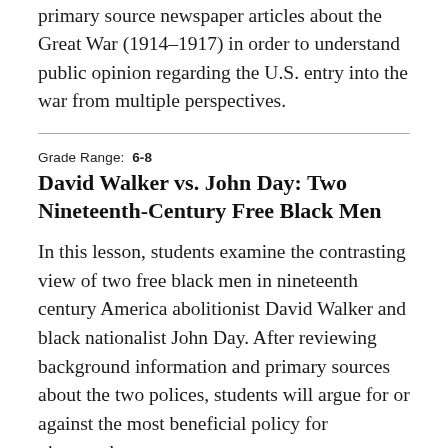primary source newspaper articles about the Great War (1914–1917) in order to understand public opinion regarding the U.S. entry into the war from multiple perspectives.
Grade Range: 6-8
David Walker vs. John Day: Two Nineteenth-Century Free Black Men
In this lesson, students examine the contrasting view of two free black men in nineteenth century America abolitionist David Walker and black nationalist John Day. After reviewing background information and primary sources about the two polices, students will argue for or against the most beneficial policy for nineteenth-